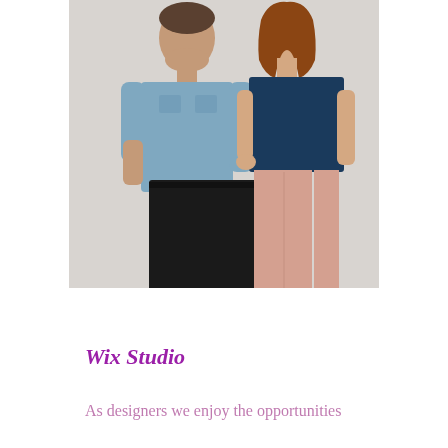[Figure (photo): Two people standing side by side against a light wall. A man on the left wearing a blue denim shirt and black jeans, and a woman on the right with auburn hair wearing a dark navy sleeveless top and light pink/blush trousers.]
Wix Studio
As designers we enjoy the opportunities